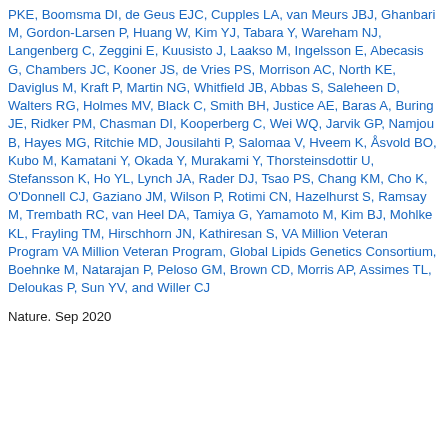PKE, Boomsma DI, de Geus EJC, Cupples LA, van Meurs JBJ, Ghanbari M, Gordon-Larsen P, Huang W, Kim YJ, Tabara Y, Wareham NJ, Langenberg C, Zeggini E, Kuusisto J, Laakso M, Ingelsson E, Abecasis G, Chambers JC, Kooner JS, de Vries PS, Morrison AC, North KE, Daviglus M, Kraft P, Martin NG, Whitfield JB, Abbas S, Saleheen D, Walters RG, Holmes MV, Black C, Smith BH, Justice AE, Baras A, Buring JE, Ridker PM, Chasman DI, Kooperberg C, Wei WQ, Jarvik GP, Namjou B, Hayes MG, Ritchie MD, Jousilahti P, Salomaa V, Hveem K, Åsvold BO, Kubo M, Kamatani Y, Okada Y, Murakami Y, Thorsteinsdottir U, Stefansson K, Ho YL, Lynch JA, Rader DJ, Tsao PS, Chang KM, Cho K, O'Donnell CJ, Gaziano JM, Wilson P, Rotimi CN, Hazelhurst S, Ramsay M, Trembath RC, van Heel DA, Tamiya G, Yamamoto M, Kim BJ, Mohlke KL, Frayling TM, Hirschhorn JN, Kathiresan S, VA Million Veteran Program VA Million Veteran Program, Global Lipids Genetics Consortium, Boehnke M, Natarajan P, Peloso GM, Brown CD, Morris AP, Assimes TL, Deloukas P, Sun YV, and Willer CJ
Nature. Sep 2020